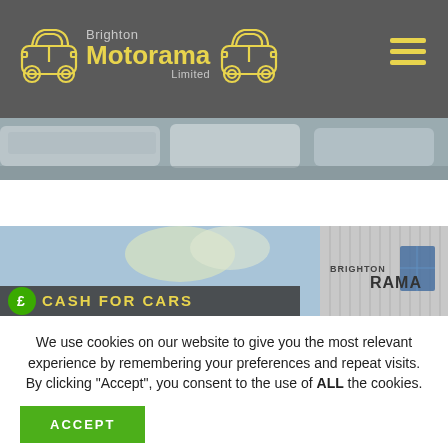Brighton Motorama Limited
[Figure (photo): Cars parked in a lot, grey strip photo across top of page]
[Figure (photo): Brighton Motorama building exterior with CASH FOR CARS sign and green pound icon]
We use cookies on our website to give you the most relevant experience by remembering your preferences and repeat visits. By clicking “Accept”, you consent to the use of ALL the cookies.
ACCEPT